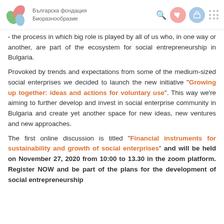Българска фондация Биоразнообразие
the process in which big role is played by all of us who, in one way or another, are part of the ecosystem for social entrepreneurship in Bulgaria.
Provoked by trends and expectations from some of the medium-sized social enterprises we decided to launch the new initiative "Growing up together: ideas and actions for voluntary use". This way we're aiming to further develop and invest in social enterprise community in Bulgaria and create yet another space for new ideas, new ventures and new approaches.
The first online discussion is titled "Financial instruments for sustainability and growth of social enterprises" and will be held on November 27, 2020 from 10:00 to 13.30 in the zoom platform. Register NOW and be part of the plans for the development of social entrepreneurship